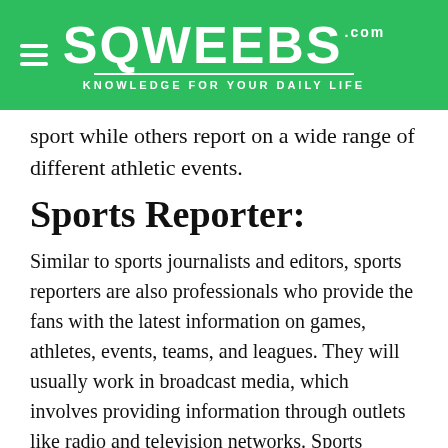SQWEEBS.com — KNOWLEDGE FOR YOUR DAILY LIFE
sport while others report on a wide range of different athletic events.
Sports Reporter:
Similar to sports journalists and editors, sports reporters are also professionals who provide the fans with the latest information on games, athletes, events, teams, and leagues. They will usually work in broadcast media, which involves providing information through outlets like radio and television networks. Sports reporters are often individuals with a high level of knowledge regarding the sport that they are reporting on, which allows them to provide an in-depth commentary and analyze the performance of the athletes or teams that they are reporting on, often in real-